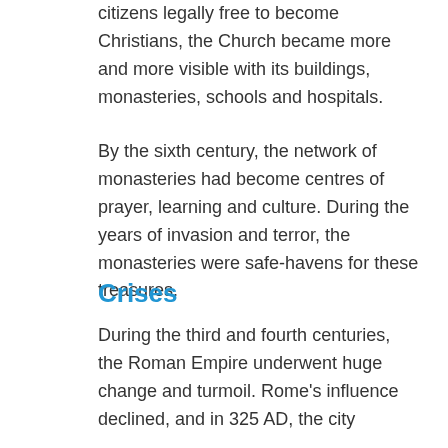citizens legally free to become Christians, the Church became more and more visible with its buildings, monasteries, schools and hospitals.
By the sixth century, the network of monasteries had become centres of prayer, learning and culture. During the years of invasion and terror, the monasteries were safe-havens for these treasures.
Crises
During the third and fourth centuries, the Roman Empire underwent huge change and turmoil. Rome's influence declined, and in 325 AD, the city of Rome and Constantinople became the